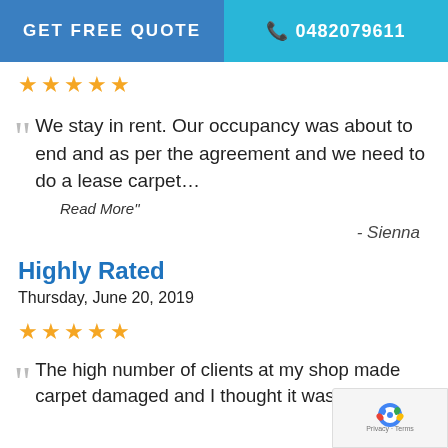GET FREE QUOTE | 0482079611
★★★★★
"We stay in rent. Our occupancy was about to end and as per the agreement and we need to do a lease carpet…
Read More"
- Sienna
Highly Rated
Thursday, June 20, 2019
★★★★★
"The high number of clients at my shop made carpet damaged and I thought it was
[Figure (logo): reCAPTCHA badge with robot icon and Privacy - Terms text]